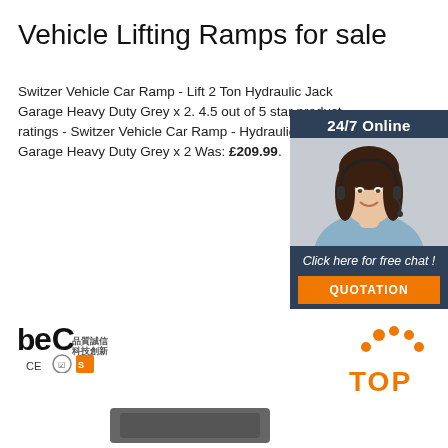Vehicle Lifting Ramps for sale
Switzer Vehicle Car Ramp - Lift 2 Ton Hydraulic Jack Garage Heavy Duty Grey x 2. 4.5 out of 5 star product ratings - Switzer Vehicle Car Ramp - Hydraulic Jack Garage Heavy Duty Grey x 2 Was: £209.99.
[Figure (other): Orange 'Get Price' button]
[Figure (other): 24/7 Online chat widget with photo of woman wearing headset, 'Click here for free chat!' text and orange QUOTATION button]
[Figure (logo): BEC logo with CE and certification badges]
[Figure (other): Orange TOP button with dot icons]
[Figure (other): Partial product image at bottom]